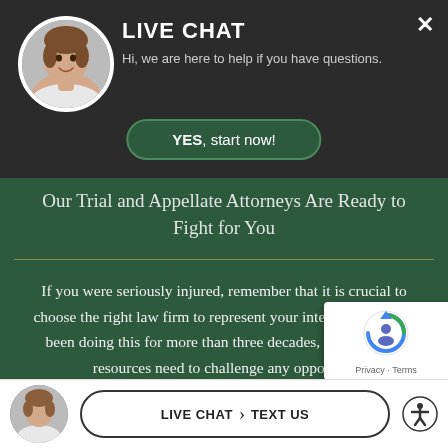[Figure (screenshot): Live chat overlay header with avatar, title 'LIVE CHAT', subtitle 'Hi, we are here to help if you have questions.', close button (X), and 'YES, start now!' button]
Our Trial and Appellate Attorneys Are Ready to Fight for You
If you were seriously injured, remember that it is crucial to choose the right law firm to represent your interests. We have been doing this for more than three decades, and have the resources need to challenge any opponent.
[Figure (logo): reCAPTCHA badge with Privacy - Terms]
[Figure (screenshot): Bottom bar with avatar, LIVE CHAT and TEXT US buttons, and accessibility icon]